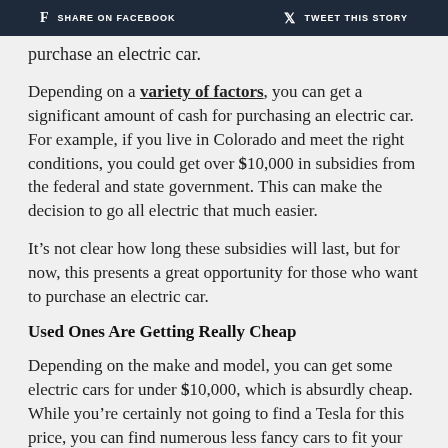f SHARE ON FACEBOOK | TWEET THIS STORY
purchase an electric car.
Depending on a variety of factors, you can get a significant amount of cash for purchasing an electric car. For example, if you live in Colorado and meet the right conditions, you could get over $10,000 in subsidies from the federal and state government. This can make the decision to go all electric that much easier.
It’s not clear how long these subsidies will last, but for now, this presents a great opportunity for those who want to purchase an electric car.
Used Ones Are Getting Really Cheap
Depending on the make and model, you can get some electric cars for under $10,000, which is absurdly cheap. While you’re certainly not going to find a Tesla for this price, you can find numerous less fancy cars to fit your